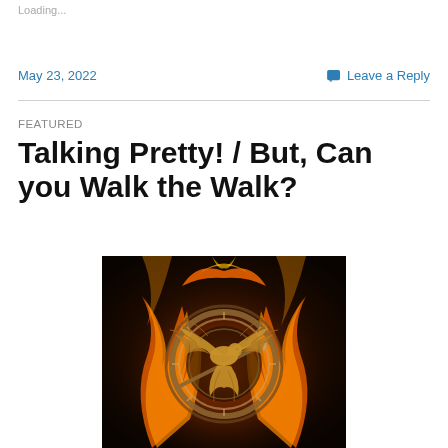Loading...
May 23, 2022
Leave a Reply
FEATURED
Talking Pretty! / But, Can you Walk the Walk?
[Figure (photo): A dark fantasy image of a mockingjay pin/medallion engulfed in orange flames, with a bird with spread wings in the center, resembling the Hunger Games symbol.]